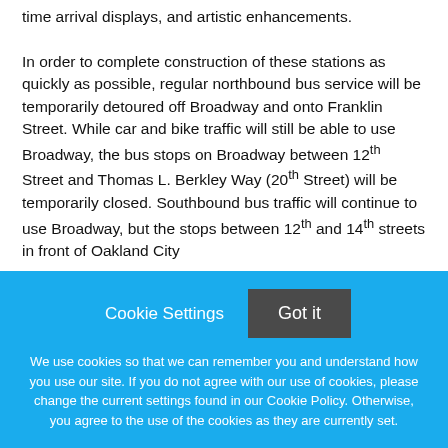time arrival displays, and artistic enhancements.

In order to complete construction of these stations as quickly as possible, regular northbound bus service will be temporarily detoured off Broadway and onto Franklin Street. While car and bike traffic will still be able to use Broadway, the bus stops on Broadway between 12th Street and Thomas L. Berkley Way (20th Street) will be temporarily closed. Southbound bus traffic will continue to use Broadway, but the stops between 12th and 14th streets in front of Oakland City Center will also be temporarily closed. This detour is expected to...
Cookie Settings  Got it

We use cookies so that we can remember you and understand how you use our site. If you do not agree with our use of cookies, please change the current settings found in our Cookie Policy. Otherwise, you agree to the use of the cookies as they are currently set.